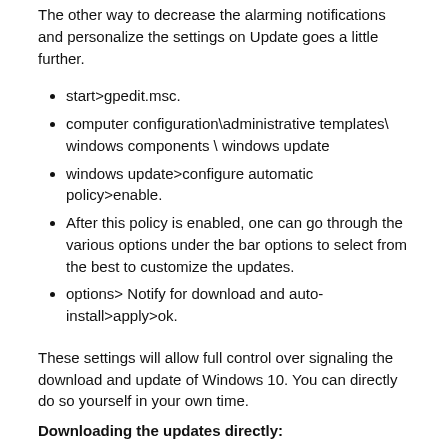The other way to decrease the alarming notifications and personalize the settings on Update goes a little further.
start>gpedit.msc.
computer configuration\administrative templates\ windows components \ windows update
windows update>configure automatic policy>enable.
After this policy is enabled, one can go through the various options under the bar options to select from the best to customize the updates.
options> Notify for download and auto-install>apply>ok.
These settings will allow full control over signaling the download and update of Windows 10. You can directly do so yourself in your own time.
Downloading the updates directly:
Go to settings>update &security>windows update>Check for updates.
In case altering the Local Group Policy doesn't help, the changes